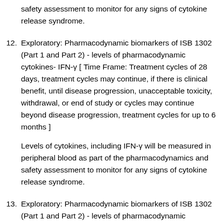safety assessment to monitor for any signs of cytokine release syndrome.
12. Exploratory: Pharmacodynamic biomarkers of ISB 1302 (Part 1 and Part 2) - levels of pharmacodynamic cytokines- IFN-γ [ Time Frame: Treatment cycles of 28 days, treatment cycles may continue, if there is clinical benefit, until disease progression, unacceptable toxicity, withdrawal, or end of study or cycles may continue beyond disease progression, treatment cycles for up to 6 months ]
Levels of cytokines, including IFN-γ will be measured in peripheral blood as part of the pharmacodynamics and safety assessment to monitor for any signs of cytokine release syndrome.
13. Exploratory: Pharmacodynamic biomarkers of ISB 1302 (Part 1 and Part 2) - levels of pharmacodynamic cytokines- TNF-α [ Time Frame: Treatment cycles of 28